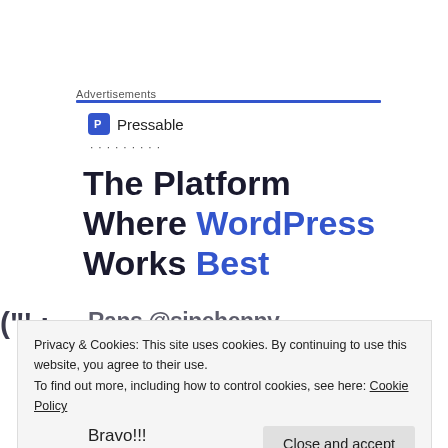Advertisements
[Figure (logo): Pressable logo with blue square icon and text 'Pressable', followed by a dotted line]
The Platform Where WordPress Works Best
Privacy & Cookies: This site uses cookies. By continuing to use this website, you agree to their use. To find out more, including how to control cookies, see here: Cookie Policy
Close and accept
Bravo!!!